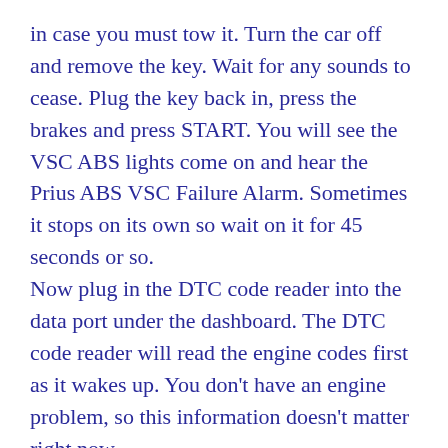in case you must tow it. Turn the car off and remove the key. Wait for any sounds to cease. Plug the key back in, press the brakes and press START. You will see the VSC ABS lights come on and hear the Prius ABS VSC Failure Alarm. Sometimes it stops on its own so wait on it for 45 seconds or so.
Now plug in the DTC code reader into the data port under the dashboard. The DTC code reader will read the engine codes first as it wakes up. You don't have an engine problem, so this information doesn't matter right now.
Press the lower left key, (or wherever the button is) for reading brake system codes.
In this video the DTC brake codes that displayed were code C1252 and C1256. Erase